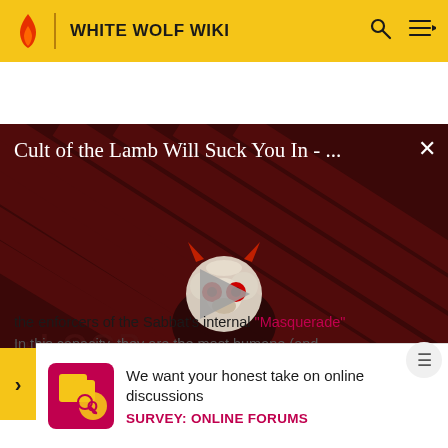WHITE WOLF WIKI
[Figure (screenshot): Video thumbnail for 'Cult of the Lamb Will Suck You In - ...' showing a cartoon lamb character with devil horns on a dark red striped background. A play button triangle is centered. Bottom left shows 'THE LOOP' text. Bottom right shows 'NaN:NaN' time badge.]
the enforcers of the Sabbat's internal "Masquerade"
In this capacity, they are the most humane (and
We want your honest take on online discussions
SURVEY: ONLINE FORUMS